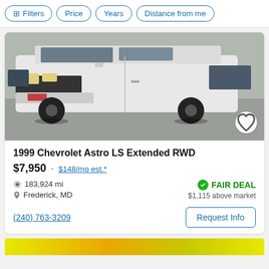Filters | Price | Years | Distance from me
[Figure (photo): White 1999 Chevrolet Astro LS Extended RWD van parked in a lot, front 3/4 view]
1999 Chevrolet Astro LS Extended RWD
$7,950 · $148/mo est.*
183,924 mi
Frederick, MD
FAIR DEAL
$1,115 above market
(240) 763-3209
Request Info